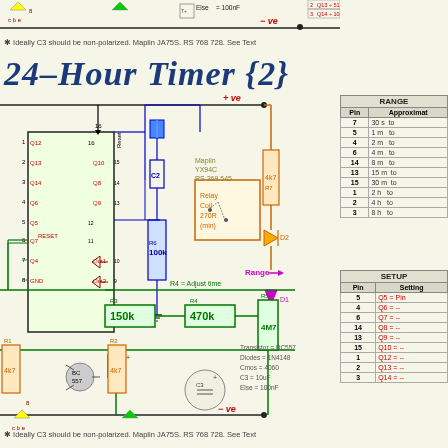[Figure (circuit-diagram): Top strip showing partial 24-hour timer circuit with transistors, capacitors, and -ve rail]
* Ideally C3 should be non-polarized. Maplin JA75S. RS 768 728. See Text
24-Hour Timer {2}
[Figure (circuit-diagram): 24-Hour Timer circuit 2 showing CMOS 4060 IC, relay coil 270R, transistors BC557, diodes 1N4148, resistors R1-R7, capacitors C2 C3, and range/reset connections]
| Pin | Approximate |
| --- | --- |
| 7 | 30 s to |
| 5 | 1 m to |
| 4 | 2 m to |
| 6 | 4 m to |
| 14 | 8 m to |
| 13 | 15 m to |
| 15 | 30 m to |
| 1 | 2 h to |
| 2 | 4 h to |
| 3 | 8 h to |
| Pin | Setting |
| --- | --- |
| 5 | Q5 = Pin |
| 4 | Q6 = -- |
| 6 | Q7 = -- |
| 14 | Q8 = -- |
| 13 | Q9 = -- |
| 15 | Q10 = -- |
| 1 | Q12 = -- |
| 2 | Q13 = -- |
| 3 | Q14 = -- |
* Ideally C3 should be non-polarized. Maplin JA75S. RS 768 728. See Text